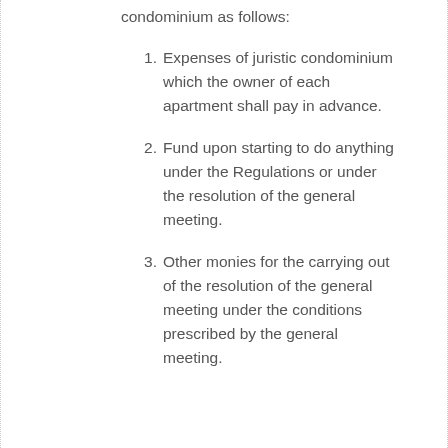condominium as follows:
1. Expenses of juristic condominium which the owner of each apartment shall pay in advance.
2. Fund upon starting to do anything under the Regulations or under the resolution of the general meeting.
3. Other monies for the carrying out of the resolution of the general meeting under the conditions prescribed by the general meeting.